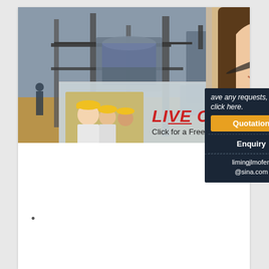[Figure (screenshot): Screenshot of a website showing crusher equipment for south africa page with a live chat popup overlay, worker banner image, and a right sidebar with Quotation and Enquiry buttons.]
crusher equipments for south africa
2021-9-6 · Used quarry equipment and crushers in south africa. Used quarry equipment and crushers in south africa. leading global manufacturer of crushing, grinding and mining... equipments, we offer advanced, reasonable solutions for any size-